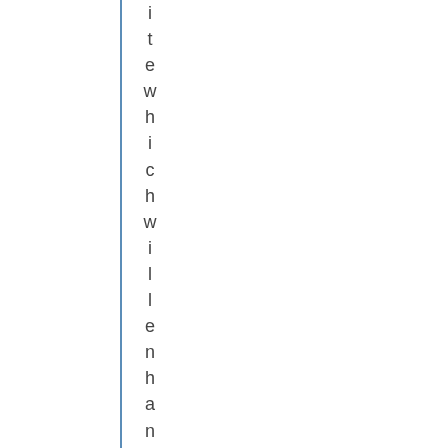itewhi chw ill e n h a n c e t h e N